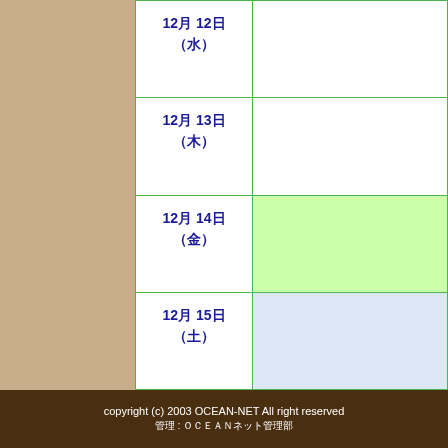| 日付 | 内容 |
| --- | --- |
| 12月 12日 (水) |  |
| 12月 13日 (木) |  |
| 12月 14日 (金) |  |
| 12月 15日 (土) |  |
copyright (c) 2003 OCEAN-NET All right reserved
管理 : ＯＣＥＡＮネット管理部